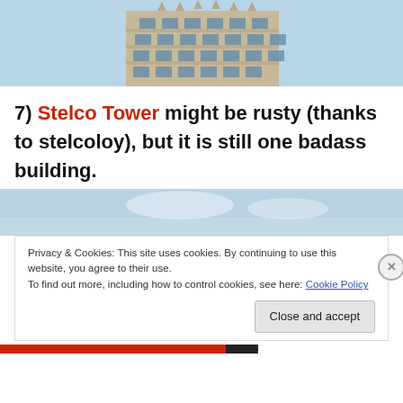[Figure (photo): Photograph of the upper portion of Stelco Tower, a multi-story art-deco style building with ornate Gothic detailing at the top, against a light blue sky.]
7) Stelco Tower might be rusty (thanks to stelcoloy), but it is still one badass building.
[Figure (photo): Partial photograph of a building against a blue sky, partially obscured by a cookie consent banner.]
Privacy & Cookies: This site uses cookies. By continuing to use this website, you agree to their use.
To find out more, including how to control cookies, see here: Cookie Policy
Close and accept